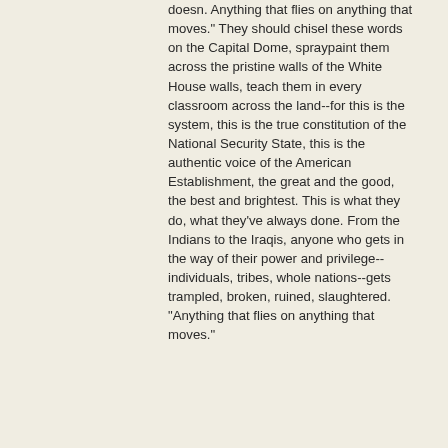doesn. Anything that flies on anything that moves." They should chisel these words on the Capital Dome, spraypaint them across the pristine walls of the White House walls, teach them in every classroom across the land--for this is the system, this is the true constitution of the National Security State, this is the authentic voice of the American Establishment, the great and the good, the best and brightest. This is what they do, what they've always done. From the Indians to the Iraqis, anyone who gets in the way of their power and privilege--individuals, tribes, whole nations--gets trampled, broken, ruined, slaughtered. "Anything that flies on anything that moves."